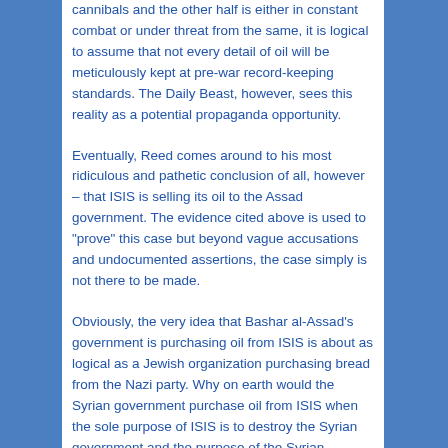cannibals and the other half is either in constant combat or under threat from the same, it is logical to assume that not every detail of oil will be meticulously kept at pre-war record-keeping standards. The Daily Beast, however, sees this reality as a potential propaganda opportunity.
Eventually, Reed comes around to his most ridiculous and pathetic conclusion of all, however – that ISIS is selling its oil to the Assad government. The evidence cited above is used to "prove" this case but beyond vague accusations and undocumented assertions, the case simply is not there to be made.
Obviously, the very idea that Bashar al-Assad's government is purchasing oil from ISIS is about as logical as a Jewish organization purchasing bread from the Nazi party. Why on earth would the Syrian government purchase oil from ISIS when the sole purpose of ISIS is to destroy the Syrian government and the purpose of the Syrian government is to destroy ISIS? Sure, Assad needs the oil but how would it benefit either party to strengthen the other? Would ISIS not stand to lose Assad forces...